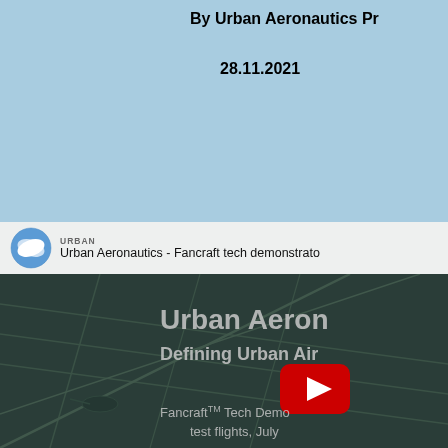By Urban Aeronautics Pr
28.11.2021
[Figure (screenshot): YouTube video thumbnail showing Urban Aeronautics Fancraft tech demonstrator. Top bar shows Urban Aeronautics logo (blue circle with white horizontal ovals) and channel name 'Urban Aeronautics - Fancraft tech demonstrato'. Background is aerial/satellite view of airfield in dark teal. Overlaid white text reads 'Urban Aeron' and 'Defining Urban Air'. Red YouTube play button in center. Text below reads 'Fancraft™ Tech Demo' and 'test flights, July'.]